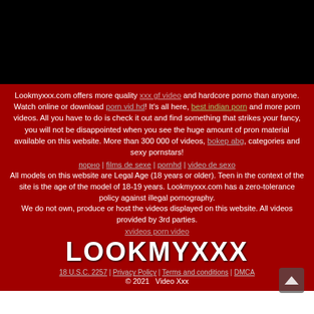[Figure (other): Black rectangle representing a video player area]
Lookmyxxx.com offers more quality xxx gf video and hardcore porno than anyone. Watch online or download porn vid hd! It's all here, best indian porn and more porn videos. All you have to do is check it out and find something that strikes your fancy, you will not be disappointed when you see the huge amount of pron material available on this website. More than 300 000 of videos, bokep abg, categories and sexy pornstars!
порно | films de sexe | pornhd | video de sexo
All models on this website are Legal Age (18 years or older). Teen in the context of the site is the age of the model of 18-19 years. Lookmyxxx.com has a zero-tolerance policy against illegal pornography.
We do not own, produce or host the videos displayed on this website. All videos provided by 3rd parties.
xvideos porn video
LOOKMYXXX
18 U.S.C. 2257 | Privacy Policy | Terms and conditions | DMCA
© 2021   Video Xxx